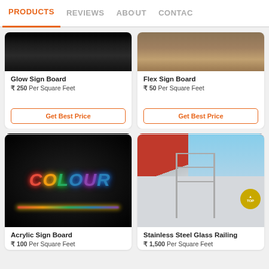PRODUCTS | REVIEWS | ABOUT | CONTACT
[Figure (photo): Glow Sign Board product image - dark glowing sign board]
Glow Sign Board
₹ 250 Per Square Feet
Get Best Price
[Figure (photo): Flex Sign Board product image - outdoor flex board]
Flex Sign Board
₹ 50 Per Square Feet
Get Best Price
[Figure (photo): Acrylic Sign Board - colorful neon letters spelling COLOUR on dark background]
Acrylic Sign Board
₹ 100 Per Square Feet
[Figure (photo): Stainless Steel Glass Railing on a building balcony with glass panels]
Stainless Steel Glass Railing
₹ 1,500 Per Square Feet